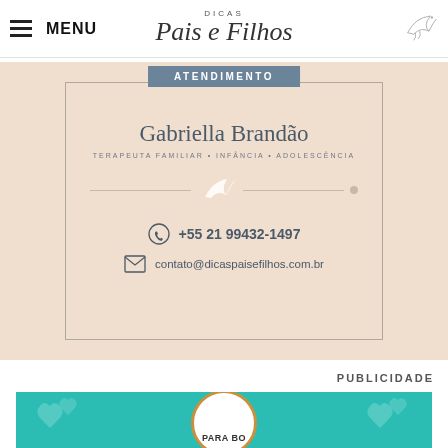MENU | Dicas Pais e Filhos
[Figure (other): Contact card for Gabriella Brandão, Terapeuta Familiar • Infância • Adolescência, with phone +55 21 99432-1497 and email contato@dicaspaisefilhos.com.br, decorated with a white bird and lines on a peach/beige background]
PUBLICIDADE
[Figure (other): Teal advertisement banner with circular logo and decorative heart shapes]